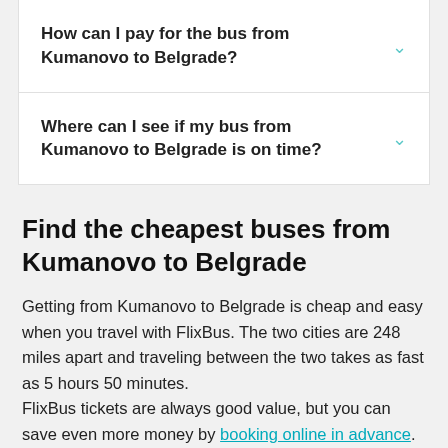How can I pay for the bus from Kumanovo to Belgrade?
Where can I see if my bus from Kumanovo to Belgrade is on time?
Find the cheapest buses from Kumanovo to Belgrade
Getting from Kumanovo to Belgrade is cheap and easy when you travel with FlixBus. The two cities are 248 miles apart and traveling between the two takes as fast as 5 hours 50 minutes.
FlixBus tickets are always good value, but you can save even more money by booking online in advance. Book on the website or our FlixBus App in minutes, then simply use